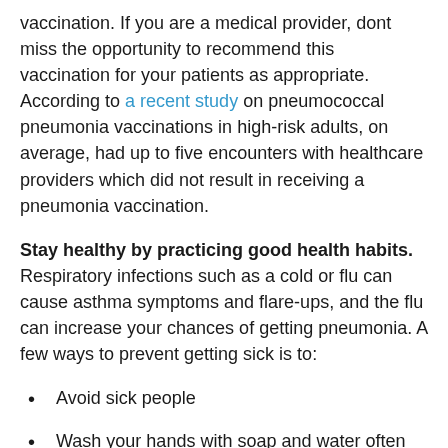vaccination. If you are a medical provider, dont miss the opportunity to recommend this vaccination for your patients as appropriate. According to a recent study on pneumococcal pneumonia vaccinations in high-risk adults, on average, had up to five encounters with healthcare providers which did not result in receiving a pneumonia vaccination.
Stay healthy by practicing good health habits. Respiratory infections such as a cold or flu can cause asthma symptoms and flare-ups, and the flu can increase your chances of getting pneumonia. A few ways to prevent getting sick is to:
Avoid sick people
Wash your hands with soap and water often
Clean surfaces that are touched most often such as door knobs, light switches, etc.